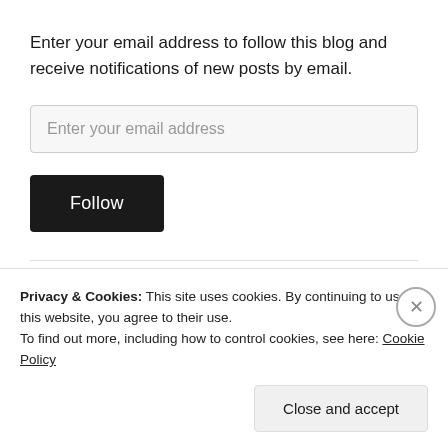Enter your email address to follow this blog and receive notifications of new posts by email.
Enter your email address
Follow
Advertisements
[Figure (logo): Pocket Casts logo - red circular icon with headphone wave and text 'Pocket Casts']
Privacy & Cookies: This site uses cookies. By continuing to use this website, you agree to their use.
To find out more, including how to control cookies, see here: Cookie Policy
Close and accept